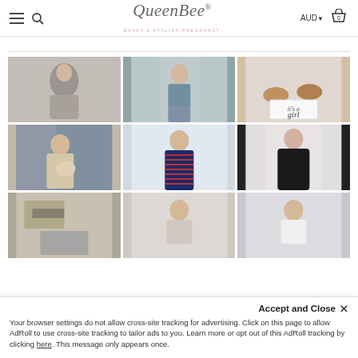QueenBee® — ENJOY A STYLISH PREGNANCY | AUD | Cart 0
[Figure (screenshot): 3x3 grid of maternity fashion product photos: row1: (1) woman in grey knit cardigan back view, (2) woman in blue lace top, (3) baby shoes and 'it's a girl' card; row2: (4) pregnant woman in beige wrap cardigan, (5) woman in navy-red striped maternity dress, (6) woman in black off-shoulder dress; row3: (7) leaf-print clothing flatlay, (8) woman in casual top, (9) woman in white blouse]
Accept and Close ✕
Your browser settings do not allow cross-site tracking for advertising. Click on this page to allow AdRoll to use cross-site tracking to tailor ads to you. Learn more or opt out of this AdRoll tracking by clicking here. This message only appears once.